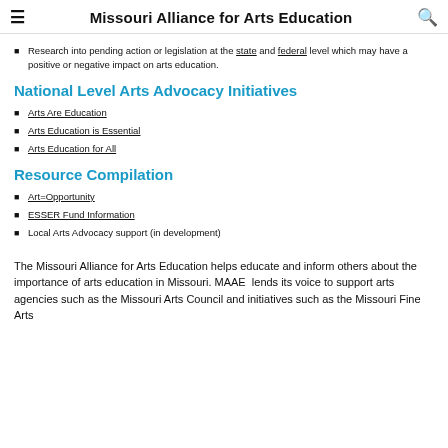Missouri Alliance for Arts Education
Research into pending action or legislation at the state and federal level which may have a positive or negative impact on arts education.
National Level Arts Advocacy Initiatives
Arts Are Education
Arts Education is Essential
Arts Education for All
Resource Compilation
Art=Opportunity
ESSER Fund Information
Local Arts Advocacy support (in development)
The Missouri Alliance for Arts Education helps educate and inform others about the importance of arts education in Missouri. MAAE lends its voice to support arts agencies such as the Missouri Arts Council and initiatives such as the Missouri Fine Arts